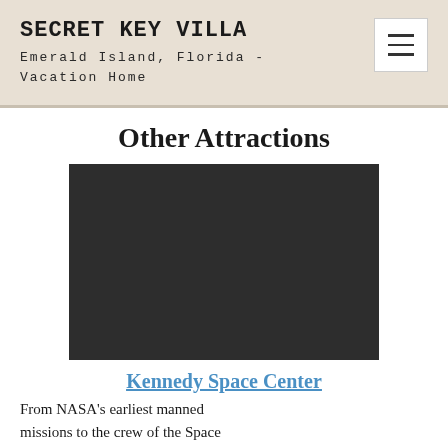SECRET KEY VILLA
Emerald Island, Florida - Vacation Home
Other Attractions
[Figure (photo): Dark/black video placeholder image, likely an embedded video from Kennedy Space Center]
Kennedy Space Center
From NASA's earliest manned missions to the crew of the Space